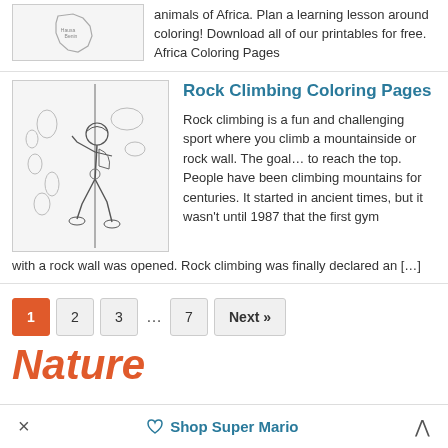[Figure (illustration): Small thumbnail of Africa coloring page with map outline]
animals of Africa. Plan a learning lesson around coloring! Download all of our printables for free. Africa Coloring Pages
Rock Climbing Coloring Pages
[Figure (illustration): Line drawing of a person rock climbing on a wall with rope]
Rock climbing is a fun and challenging sport where you climb a mountainside or rock wall. The goal… to reach the top. People have been climbing mountains for centuries. It started in ancient times, but it wasn't until 1987 that the first gym with a rock wall was opened. Rock climbing was finally declared an […]
1 (active page)
2
3
7
Next »
Nature
× ♡ Shop Super Mario ^